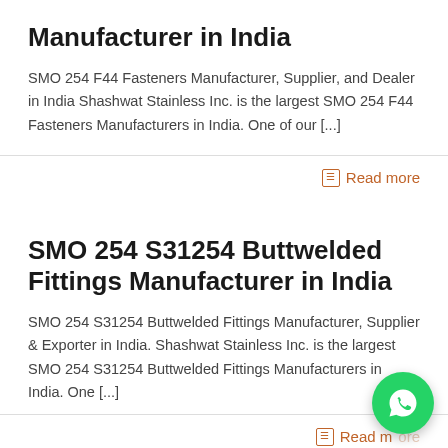Manufacturer in India
SMO 254 F44 Fasteners Manufacturer, Supplier, and Dealer in India Shashwat Stainless Inc. is the largest SMO 254 F44 Fasteners Manufacturers in India. One of our [...]
Read more
SMO 254 S31254 Buttwelded Fittings Manufacturer in India
SMO 254 S31254 Buttwelded Fittings Manufacturer, Supplier & Exporter in India. Shashwat Stainless Inc. is the largest SMO 254 S31254 Buttwelded Fittings Manufacturers in India. One [...]
Read more